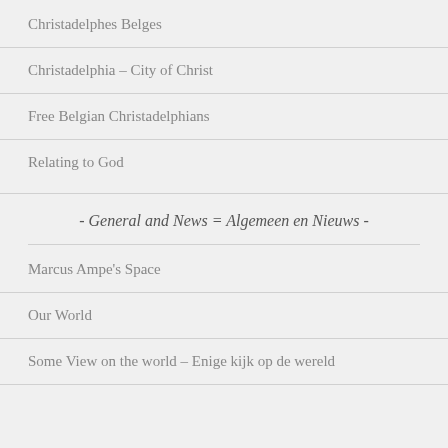Christadelphes Belges
Christadelphia – City of Christ
Free Belgian Christadelphians
Relating to God
- General and News = Algemeen en Nieuws -
Marcus Ampe's Space
Our World
Some View on the world – Enige kijk op de wereld